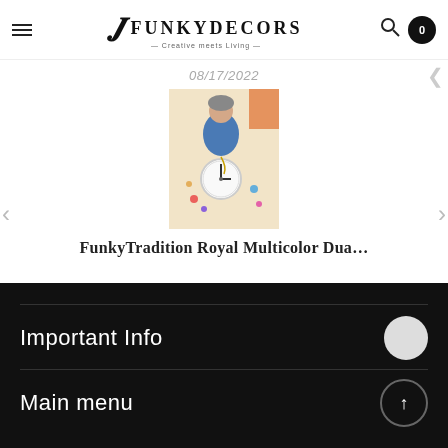FunkyDecors — Creative meets Living
08/17/2022
[Figure (photo): Product photo of FunkyTradition Royal Multicolor decorative item featuring a figurine with a clock, set against a light background with colorful accents]
FunkyTradition Royal Multicolor Dua…
Important Info
Main menu